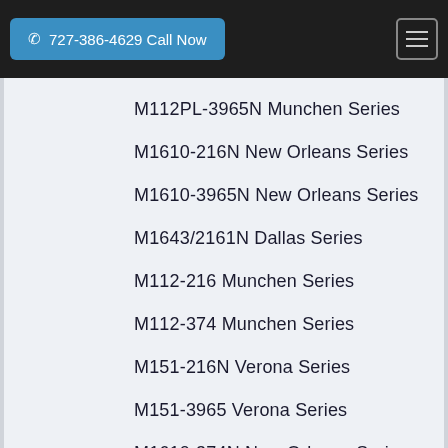727-386-4629 Call Now
M112PL-3965N Munchen Series
M1610-216N New Orleans Series
M1610-3965N New Orleans Series
M1643/2161N Dallas Series
M112-216 Munchen Series
M112-374 Munchen Series
M151-216N Verona Series
M151-3965 Verona Series
M1610-374N New Orleans Series